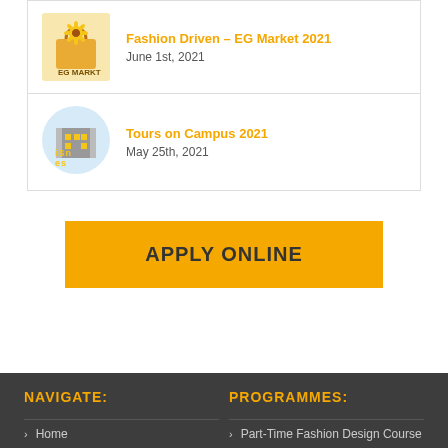Fashion Driven – EG Market 2021
June 1st, 2021
Tours on Campus 2021
May 25th, 2021
APPLY ONLINE
NAVIGATE:
Home
PROGRAMMES:
Part-Time Fashion Design Course